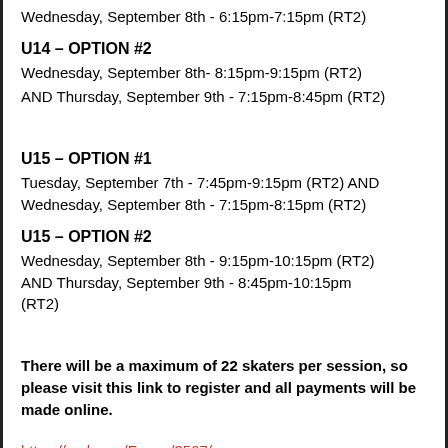Wednesday, September 8th - 6:15pm-7:15pm (RT2)
U14 – OPTION #2
Wednesday, September 8th- 8:15pm-9:15pm (RT2)
AND Thursday, September 9th - 7:15pm-8:45pm (RT2)
U15 – OPTION #1
Tuesday, September 7th - 7:45pm-9:15pm (RT2) AND Wednesday, September 8th - 7:15pm-8:15pm (RT2)
U15 – OPTION #2
Wednesday, September 8th - 9:15pm-10:15pm (RT2) AND Thursday, September 9th - 8:45pm-10:15pm (RT2)
There will be a maximum of 22 skaters per session, so please visit this link to register and all payments will be made online.
https://nmha.ca/Forms/3567/